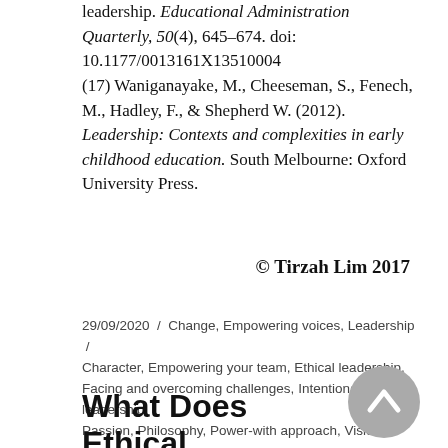leadership. Educational Administration Quarterly, 50(4), 645–674. doi: 10.1177/0013161X13510004
(17) Waniganayake, M., Cheeseman, S., Fenech, M., Hadley, F., & Shepherd W. (2012). Leadership: Contexts and complexities in early childhood education. South Melbourne: Oxford University Press.
© Tirzah Lim 2017
29/09/2020 / Change, Empowering voices, Leadership / Character, Empowering your team, Ethical leadership, Facing and overcoming challenges, Intentional leadership, Passion, Philosophy, Power-with approach, Vision
What Does Ethical